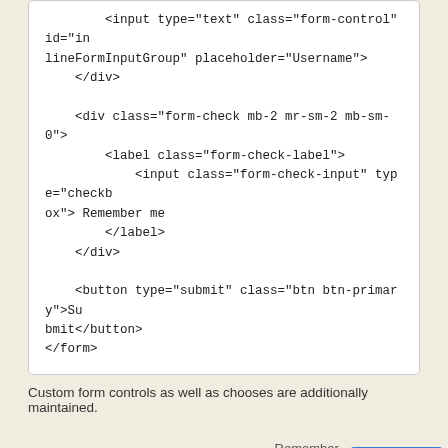<input type="text" class="form-control" id="inlineFormInputGroup" placeholder="Username">
    </div>

    <div class="form-check mb-2 mr-sm-2 mb-sm-0">
        <label class="form-check-label">
            <input class="form-check-input" type="checkbox"> Remember me
        </label>
    </div>

    <button type="submit" class="btn btn-primary">Submit</button>
</form>
Custom form controls as well as chooses are additionally maintained.
[Figure (screenshot): A demo UI row showing: label 'Preference', a 'Choose...' dropdown, a checkbox labeled 'Remember my preference', and a blue 'Submit' button.]
<form class="form-inline">
    <label class="mr-sm-2" for="inlineFormCustomSele